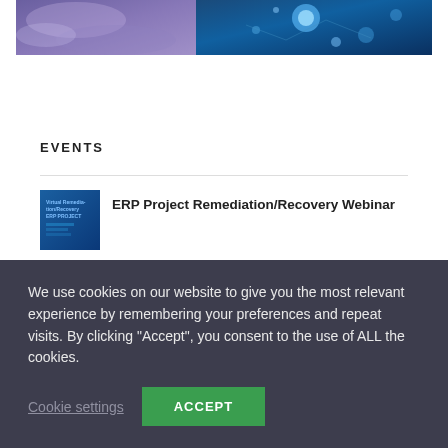[Figure (photo): Partial top banner image showing a purple/blue abstract or tech-themed photograph, cropped at the top of the page.]
EVENTS
[Figure (photo): Small thumbnail image for the ERP Project Remediation/Recovery Webinar event, blue colored.]
ERP Project Remediation/Recovery Webinar
We use cookies on our website to give you the most relevant experience by remembering your preferences and repeat visits. By clicking “Accept”, you consent to the use of ALL the cookies.
Cookie settings   ACCEPT